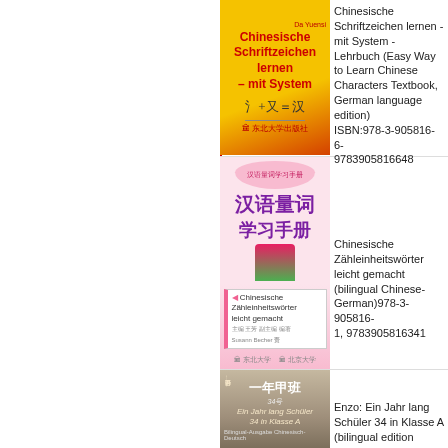[Figure (photo): Book cover: Chinesische Schriftzeichen lernen - mit System, yellow and red cover with Chinese characters and formula 氵+又=汉]
Chinesische Schriftzeichen lernen - mit System - Lehrbuch (Easy Way to Learn Chinese Characters Textbook, German language edition) ISBN:978-3-905816-6- 9783905816648
[Figure (photo): Book cover: Chinesische Zähleinheitswörter leicht gemacht, pink cover with Chinese woman in traditional dress]
Chinesische Zähleinheitswörter leicht gemacht (bilingual Chinese-German)978-3-905816- 1, 9783905816341
[Figure (photo): Book cover: Ein Jahr lang Schüler 34 in Klasse A, brown/grey cover with Chinese and German text]
Enzo: Ein Jahr lang Schüler 34 in Klasse A (bilingual edition Chinese-German)978-3-905816- 7, 9783905816327